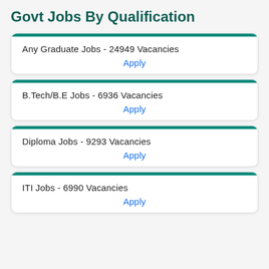Govt Jobs By Qualification
Any Graduate Jobs - 24949 Vacancies
Apply
B.Tech/B.E Jobs - 6936 Vacancies
Apply
Diploma Jobs - 9293 Vacancies
Apply
ITI Jobs - 6990 Vacancies
Apply